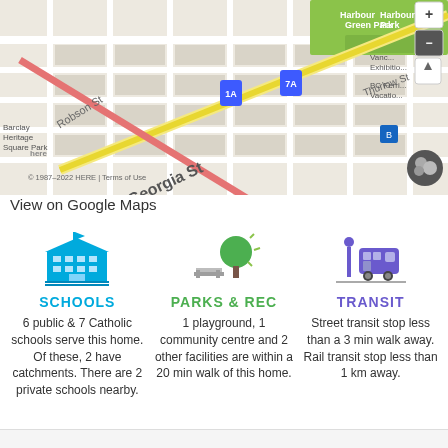[Figure (map): Street map showing W Georgia St, Robson St, Thurlow St area in Vancouver with Harbour Park, Harbour Green Park, BC Ferries Vacations, Vancouver Exhibition visible. Scale bar shows 200m. HERE map copyright 1987-2022.]
View on Google Maps
[Figure (infographic): Three-column infographic with icons and text for Schools, Parks & Rec, and Transit amenities near the home.]
SCHOOLS
6 public & 7 Catholic schools serve this home. Of these, 2 have catchments. There are 2 private schools nearby.
PARKS & REC
1 playground, 1 community centre and 2 other facilities are within a 20 min walk of this home.
TRANSIT
Street transit stop less than a 3 min walk away. Rail transit stop less than 1 km away.